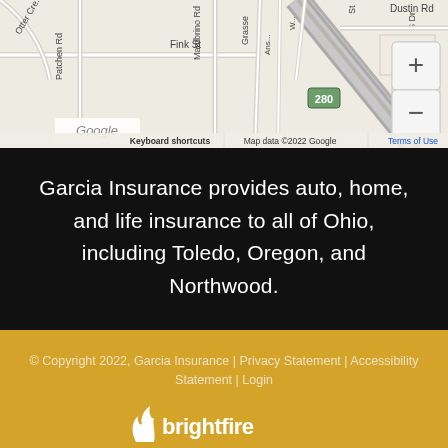[Figure (map): Google Maps screenshot showing street map of Toledo/Northwood Ohio area with roads including Otter Creek, Mambrino Rd, Patchen Rd, Fink St, Grasse, and highway 280. Zoom controls visible on right side. Map data ©2022 Google.]
Garcia Insurance provides auto, home, and life insurance to all of Ohio, including Toledo, Oregon, and Northwood.
© Copyright 2022, Garcia Insurance | Privacy Statement | Accessibility Statement | Login
[Figure (logo): BrightFire logo with flame icon and text 'brightfire']
Websites for Insurance